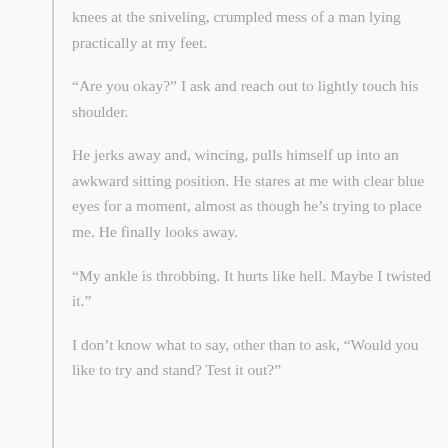knees at the sniveling, crumpled mess of a man lying practically at my feet.
“Are you okay?” I ask and reach out to lightly touch his shoulder.
He jerks away and, wincing, pulls himself up into an awkward sitting position. He stares at me with clear blue eyes for a moment, almost as though he’s trying to place me. He finally looks away.
“My ankle is throbbing. It hurts like hell. Maybe I twisted it.”
I don’t know what to say, other than to ask, “Would you like to try and stand? Test it out?”